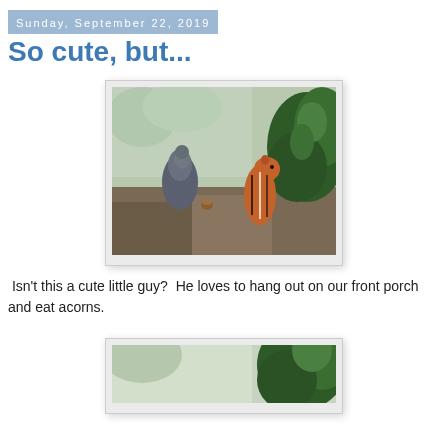Sunday, September 22, 2019
So cute, but...
[Figure (photo): A chipmunk standing upright on rocky ground near green shrubs, with a small nut on the ground nearby and a bird partially visible on the left.]
Isn't this a cute little guy?  He loves to hang out on our front porch and eat acorns.
[Figure (photo): Partial view of a second photo showing green shrubs and blurred background, cropped at bottom of page.]